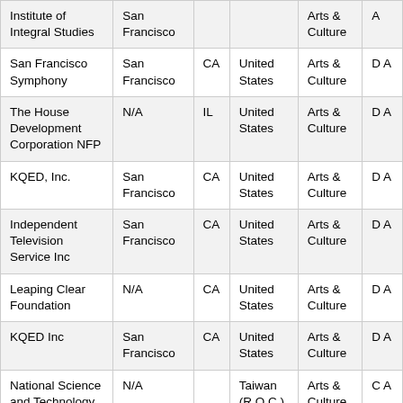| Organization | City | State | Country | Category | Type |
| --- | --- | --- | --- | --- | --- |
| Institute of Integral Studies | San Francisco |  |  | Arts & Culture | A |
| San Francisco Symphony | San Francisco | CA | United States | Arts & Culture | D A |
| The House Development Corporation NFP | N/A | IL | United States | Arts & Culture | D A |
| KQED, Inc. | San Francisco | CA | United States | Arts & Culture | D A |
| Independent Television Service Inc | San Francisco | CA | United States | Arts & Culture | D A |
| Leaping Clear Foundation | N/A | CA | United States | Arts & Culture | D A |
| KQED Inc | San Francisco | CA | United States | Arts & Culture | D A |
| National Science and Technology | N/A |  | Taiwan (R.O.C.) | Arts & Culture | C A |